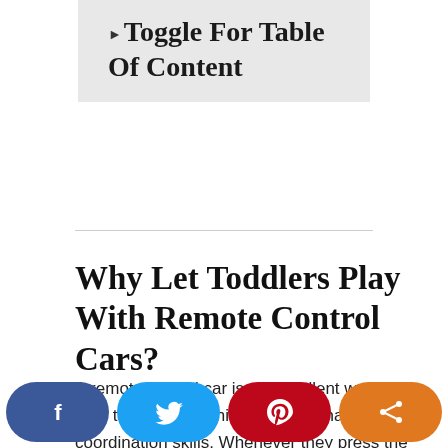Toggle For Table Of Content
Why Let Toddlers Play With Remote Control Cars?
A remote control car is an excellent way to let your toddlers train his/her eye-to-hand coordination skills. Whenever they press the buttons on
[Figure (other): Social media sharing bar with Facebook (blue), Twitter (light blue), Pinterest (red), and Share (orange) buttons at the bottom of the page]